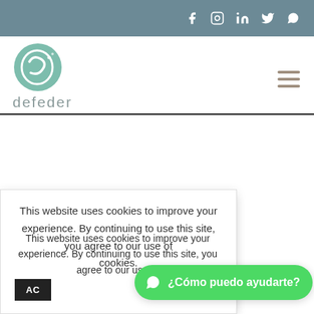Social icons: Facebook, Instagram, LinkedIn, Twitter, WhatsApp
[Figure (logo): Defeder logo: teal circular icon with stylized figure and text 'defeder' below in grey]
This website uses cookies to improve your experience. By continuing to use this site, you agree to our use of cookies.
¿Cómo puedo ayudarte?